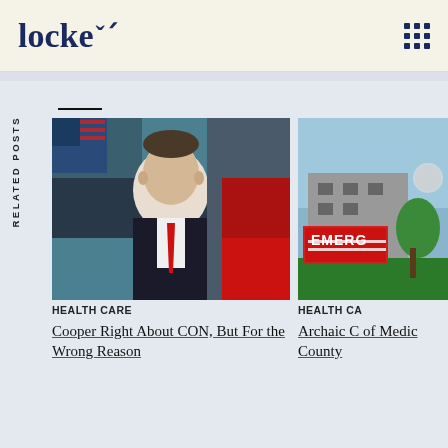locke
RELATED POSTS
[Figure (photo): Photo of a man in a dark suit with red tie, standing in front of American and other flags]
HEALTH CARE
Cooper Right About CON, But For the Wrong Reason
[Figure (photo): Photo of an emergency room sign outside a medical facility]
HEALTH CA
Archaic C of Medic County